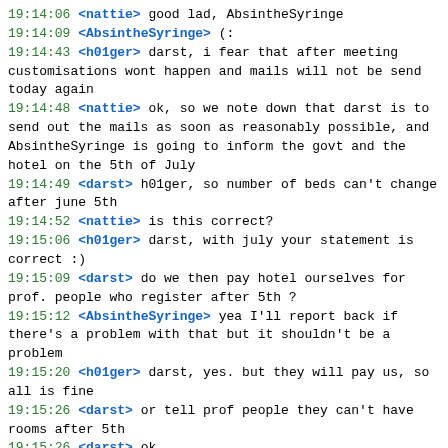19:14:06 <nattie> good lad, AbsintheSyringe
19:14:09 <AbsintheSyringe> (:
19:14:43 <h01ger> darst, i fear that after meeting customisations wont happen and mails will not be send today again
19:14:48 <nattie> ok, so we note down that darst is to send out the mails as soon as reasonably possible, and AbsintheSyringe is going to inform the govt and the hotel on the 5th of July
19:14:49 <darst> h01ger, so number of beds can't change after june 5th
19:14:52 <nattie> is this correct?
19:15:06 <h01ger> darst, with july your statement is correct :)
19:15:09 <darst> do we then pay hotel ourselves for prof. people who register after 5th ?
19:15:12 <AbsintheSyringe> yea I'll report back if there's a problem with that but it shouldn't be a problem
19:15:20 <h01ger> darst, yes. but they will pay us, so all is fine
19:15:26 <darst> or tell prof people they can't have rooms after 5th
19:15:26 <darst> ok
19:15:37 <darst> so the only thing that is capped on july 5th is amount of money gov will pay hotel
19:16:00 <darst> and if that summarizes it, then we can work from that
19:16:13 <h01ger> AFAIUI yes
19:16:24 <darst> #info so the only thing that is capped